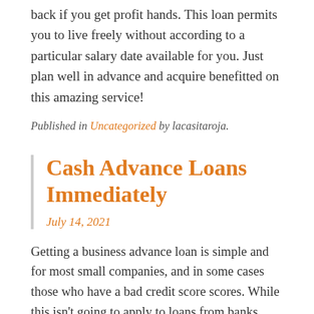back if you get profit hands. This loan permits you to live freely without according to a particular salary date available for you. Just plan well in advance and acquire benefitted on this amazing service!
Published in Uncategorized by lacasitaroja.
Cash Advance Loans Immediately
July 14, 2021
Getting a business advance loan is simple and for most small companies, and in some cases those who have a bad credit score scores. While this isn't going to apply to loans from banks, fundamental essentials requirements of non-public lenders, and personal